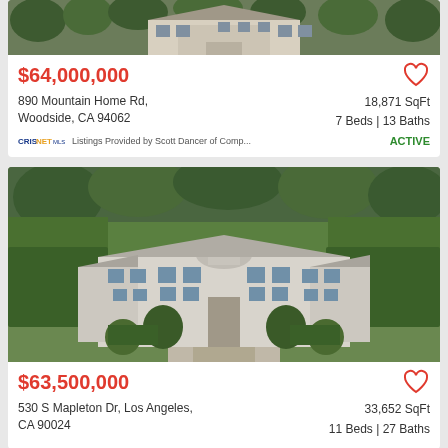[Figure (photo): Aerial/exterior photo of luxury mansion at 890 Mountain Home Rd (top portion cut off)]
$64,000,000
890 Mountain Home Rd, Woodside, CA 94062
18,871 SqFt
7 Beds | 13 Baths
CRISNETMLS Listings Provided by Scott Dancer of Comp...
ACTIVE
[Figure (photo): Aerial photo of large white classical mansion at 530 S Mapleton Dr, Los Angeles, surrounded by green hedges and trees]
$63,500,000
530 S Mapleton Dr, Los Angeles,
CA 90004
33,652 SqFt
11 Beds | 27 Baths